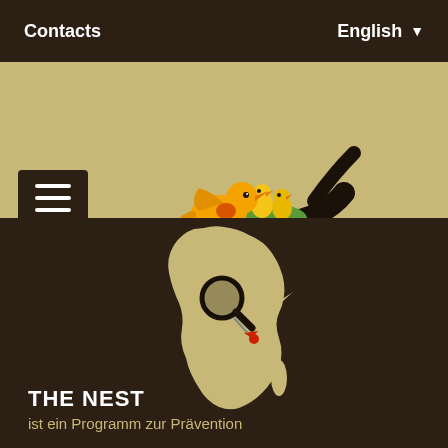Contacts   English
[Figure (logo): The Nest logo: yellow bird feeding chicks in a green nest on a dark branch, with the text 'the Nest' below in handwritten style font]
[Figure (illustration): Map of Africa in sandy/beige color on dark brown background, with a magnifying glass pointing to East Africa with a red arrow]
THE NEST
ist ein Programm zur Prävention